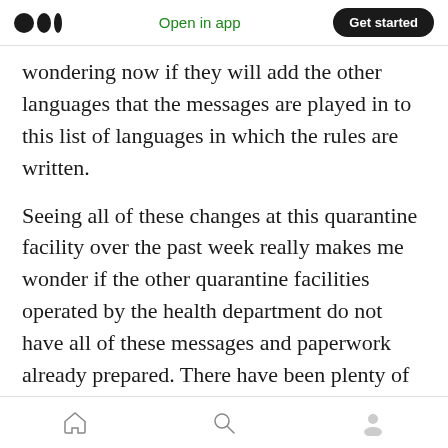Open in app | Get started
wondering now if they will add the other languages that the messages are played in to this list of languages in which the rules are written.
Seeing all of these changes at this quarantine facility over the past week really makes me wonder if the other quarantine facilities operated by the health department do not have all of these messages and paperwork already prepared. There have been plenty of people that have been entering quarantine in South Korea since the government set up this whole process back in March. I have to assume that a lot of
Home | Search | Profile